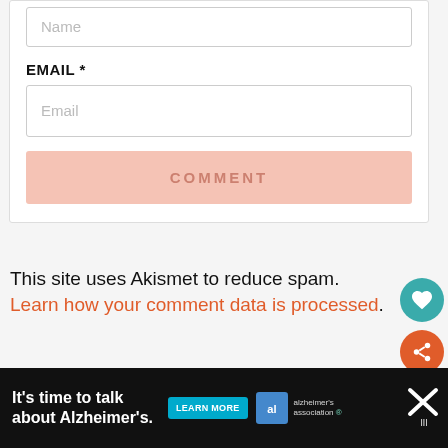Name (input field, placeholder)
EMAIL *
Email (input field, placeholder)
COMMENT (button)
This site uses Akismet to reduce spam. Learn how your comment data is processed.
[Figure (other): Teal circular heart/like button icon]
[Figure (other): Orange circular share button icon]
[Figure (other): Unique Gifts For Husker... advertisement widget with product image]
[Figure (other): It's time to talk about Alzheimer's. LEARN MORE - alzheimer's association advertisement banner with X close button]